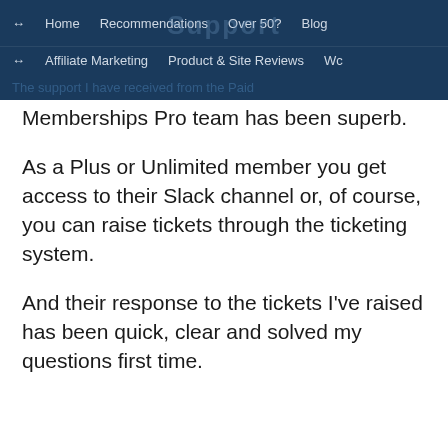↔ Home  Recommendations  Over 50?  Blog
↔ Affiliate Marketing  Product & Site Reviews  Wc
The support I have received from the Paid Memberships Pro team has been superb.
As a Plus or Unlimited member you get access to their Slack channel or, of course, you can raise tickets through the ticketing system.
And their response to the tickets I've raised has been quick, clear and solved my questions first time.